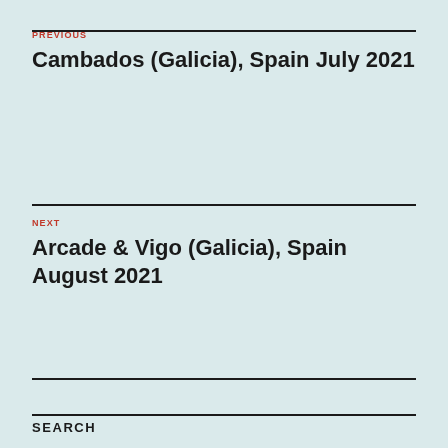PREVIOUS
Cambados (Galicia), Spain July 2021
NEXT
Arcade & Vigo (Galicia), Spain August 2021
SEARCH